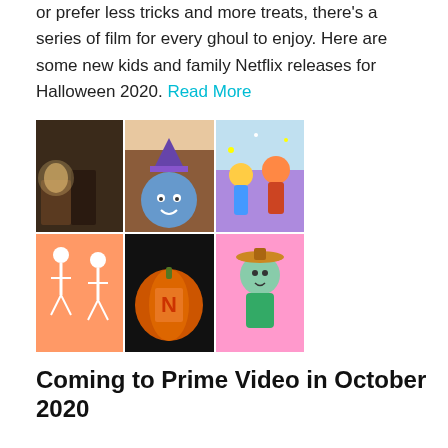or prefer less tricks and more treats, there's a series of film for every ghoul to enjoy. Here are some new kids and family Netflix releases for Halloween 2020. Read More
[Figure (photo): A 2x3 grid of Halloween-themed Netflix movie/show thumbnails including animated characters and a Netflix pumpkin.]
Coming to Prime Video in October 2020
October brings new Amazon Original Movies, Series, and Specials including the family-friendly Bug Diaries Halloween Special; Chasing the Crown: Dreamers to Streamers, a reality competition series from Prime Gaming. Read More